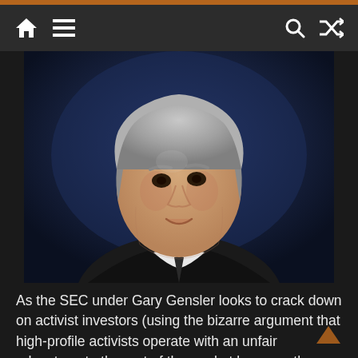Navigation bar with home, menu, search, and shuffle icons
[Figure (photo): Portrait photo of Bill Ackman, a middle-aged man with gray hair wearing a dark suit and tie, looking upward against a dark blue background]
As the SEC under Gary Gensler looks to crack down on activist investors (using the bizarre argument that high-profile activists operate with an unfair advantage to the rest of the market because they have advance knowledge of their own campaigns), one of America's most visible activist investors, Bill